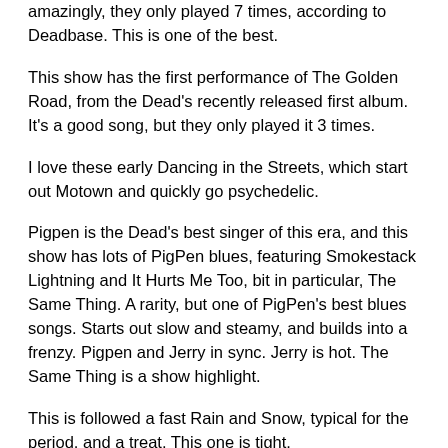amazingly, they only played 7 times, according to Deadbase. This is one of the best.
This show has the first performance of The Golden Road, from the Dead's recently released first album. It's a good song, but they only played it 3 times.
I love these early Dancing in the Streets, which start out Motown and quickly go psychedelic.
Pigpen is the Dead's best singer of this era, and this show has lots of PigPen blues, featuring Smokestack Lightning and It Hurts Me Too, bit in particular, The Same Thing. A rarity, but one of PigPen's best blues songs. Starts out slow and steamy, and builds into a frenzy. Pigpen and Jerry in sync. Jerry is hot. The Same Thing is a show highlight.
This is followed a fast Rain and Snow, typical for the period, and a treat. This one is tight.
Viola Lee Blues is another highlight. Jerry and Phil dueling it out in psychedelic hyperspeed, ever accelerating. Amazing to hear; must have been amazing to see live. (Viola fans, check